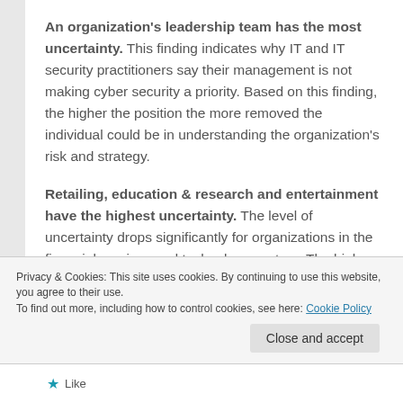An organization's leadership team has the most uncertainty. This finding indicates why IT and IT security practitioners say their management is not making cyber security a priority. Based on this finding, the higher the position the more removed the individual could be in understanding the organization's risk and strategy.
Retailing, education & research and entertainment have the highest uncertainty. The level of uncertainty drops significantly for organizations in the financial services and technology sectors. The high degree of certainty in the financial sector can be attributed to the need to comply with data security regulations.
Privacy & Cookies: This site uses cookies. By continuing to use this website, you agree to their use. To find out more, including how to control cookies, see here: Cookie Policy
Close and accept
Like